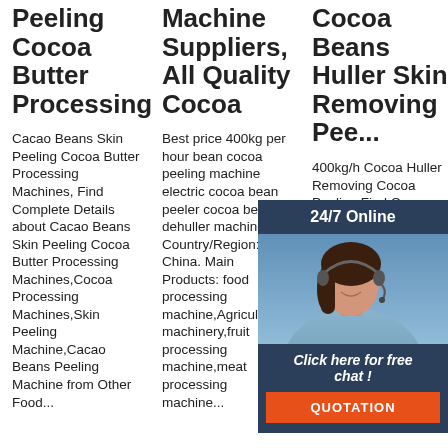Peeling Cocoa Butter Processing
Cacao Beans Skin Peeling Cocoa Butter Processing Machines, Find Complete Details about Cacao Beans Skin Peeling Cocoa Butter Processing Machines,Cocoa Processing Machines,Skin Peeling Machine,Cacao Beans Peeling Machine from Other Food...
Machine Suppliers, All Quality Cocoa
Best price 400kg per hour bean cocoa peeling machine electric cocoa bean peeler cocoa bean dehuller machine. Country/Region: China. Main Products: food processing machine,Agricultural machinery,fruit processing machine,meat processing machine...
Cocoa Beans Huller Skin Removing Pee...
400kg/h Cocoa Huller Removing Cocoa Peeling Find Complete Details 400kg/h Cocoa Huller Skin Removing Peeler Cocoa Beans Peeling Machine,Peeling Cocoa Beans
[Figure (photo): Customer service representative with headset, 24/7 Online chat widget with orange QUOTATION button]
[Figure (logo): Orange TOP badge with dotted circle]